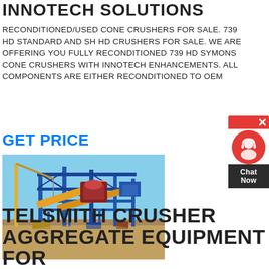INNOTECH SOLUTIONS
RECONDITIONED/USED CONE CRUSHERS FOR SALE. 739 HD STANDARD AND SH HD CRUSHERS FOR SALE. WE ARE OFFERING YOU FULLY RECONDITIONED 739 HD SYMONS CONE CRUSHERS WITH INNOTECH ENHANCEMENTS. ALL COMPONENTS ARE EITHER RECONDITIONED TO OEM
GET PRICE
[Figure (photo): Industrial heavy equipment site with large blue and yellow steel framework structure, conveyor belts, cranes visible on sandy terrain under blue sky — aggregate/mining plant]
TELSMITH CRUSHER AGGREGATE EQUIPMENT FOR